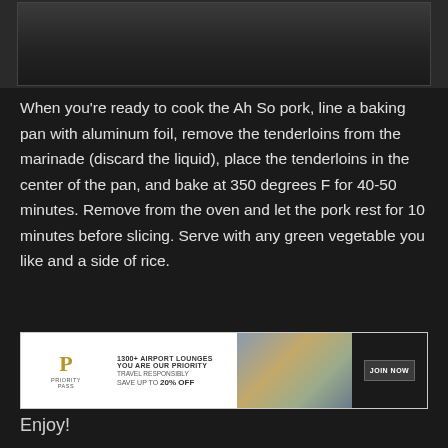[Figure (photo): Top portion of a food photo on a dark background, partially visible]
When you're ready to cook the Ah So pork, line a baking pan with aluminum foil, remove the tenderloins from the marinade (discard the liquid), place the tenderloins in the center of the pan, and bake at 350 degrees F for 40-50 minutes. Remove from the oven and let the pork rest for 10 minutes before slicing. Serve with any green vegetable you like and a side of rice.
[Figure (screenshot): Priority Pass advertisement banner: 1300+ Airport Lounges, You Are Our Priority, Travel Responsibly, Save up to 20% Off, Join Now button]
Enjoy!